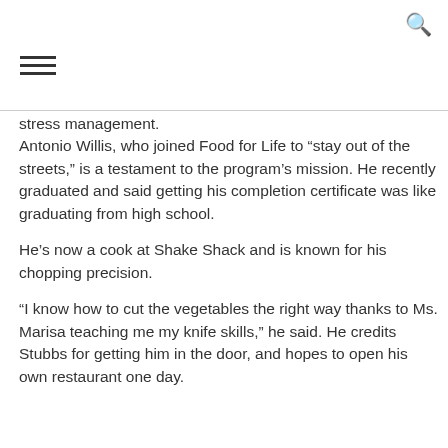stress management.
Antonio Willis, who joined Food for Life to “stay out of the streets,” is a testament to the program’s mission. He recently graduated and said getting his completion certificate was like graduating from high school.
He’s now a cook at Shake Shack and is known for his chopping precision.
“I know how to cut the vegetables the right way thanks to Ms. Marisa teaching me my knife skills,” he said. He credits Stubbs for getting him in the door, and hopes to open his own restaurant one day.